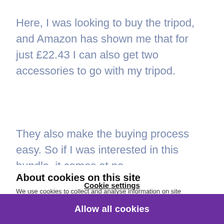Here, I was looking to buy the tripod, and Amazon has shown me that for just £22.43 I can also get two accessories to go with my tripod.
They also make the buying process easy. So if I was interested in this bundle, it comes at no
About cookies on this site
We use cookies to collect and analyse information on site performance and usage, to provide social media features and to enhance and customise content and advertisements. Learn more
Cookie settings
Allow all cookies